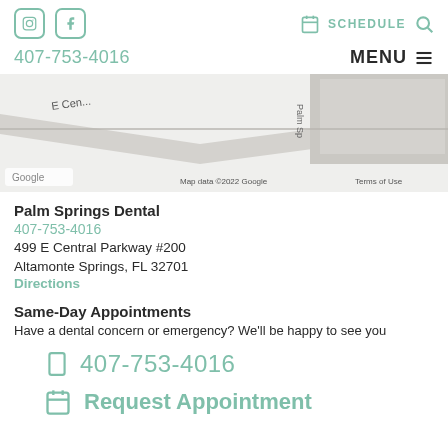Instagram, Facebook social icons | SCHEDULE (calendar icon) | Search icon
407-753-4016 | MENU
[Figure (map): Google Maps partial screenshot showing E Central Pkwy and Palm Springs area roads with Google branding and 'Map data ©2022 Google  Terms of Use' attribution]
Palm Springs Dental
407-753-4016
499 E Central Parkway #200
Altamonte Springs, FL 32701
Directions
Same-Day Appointments
Have a dental concern or emergency? We'll be happy to see you
407-753-4016
Request Appointment